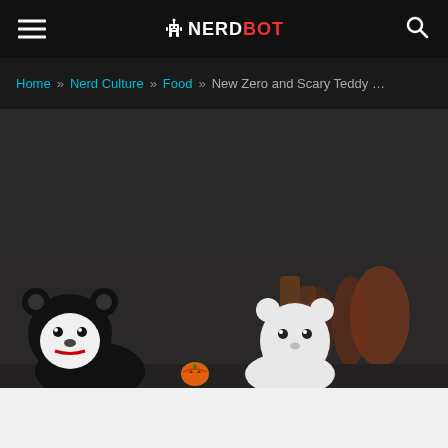NERDBOT
Home » Nerd Culture » Food » New Zero and Scary Teddy S&P Sh...
[Figure (photo): Dark advertisement or placeholder area]
[Figure (photo): Photo of ceramic salt and pepper shaker figurines — a black and white bear character and a white ghost-like character — with a small orange pumpkin between them, on a dark background with blurred red/orange objects behind.]